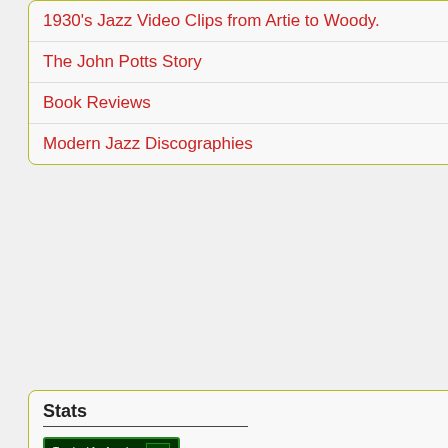1930's Jazz Video Clips from Artie to Woody.
The John Potts Story
Book Reviews
Modern Jazz Discographies
Stats
[Figure (screenshot): StatCounter tracking badge: 'Tracked for free by statcounter.com' with green background and icon]
It's not jazz, it's Ame
[Figure (photo): Mosaic Jazz album/promotional card showing 'Mosaic Jazz' vertical text logo with maze pattern strip and photo of jazz musicians performing]
ITS NOT JUS... It's a celebration of...
Worth checking out.
Lance.
at 12:04.   No comm...